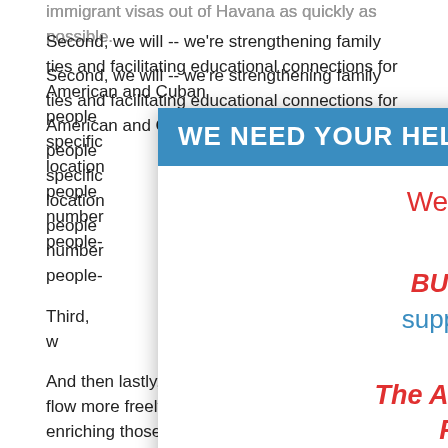immigrant visas out of Havana as quickly as possible.
Second, we will -- we're strengthening family ties and facilitating educational connections for American and Cuban people... specifically... locations... people-to-people... a number... dual people-...
Third, w... entrepr... opportu... ess -- indeper... et, cloud te... e platform... ccess to micr...
[Figure (other): Modal popup overlay with blue header 'WE NEED YOUR HELP!' and body text in red and blue: 'We're sorry to disrupt your visit! BUT: We need *your* support in order to keep providing The American Presidency Project for free. Please make a tax-deductible gift! Every gift']
And then lastly, we will ensure that remittances flow more freely to the Cuban people while not enriching those who perpetrate human rights abuses. And by that, I mean we are